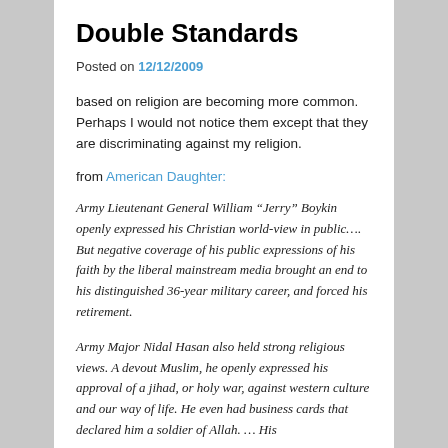Double Standards
Posted on 12/12/2009
based on religion are becoming more common. Perhaps I would not notice them except that they are discriminating against my religion.
from American Daughter:
Army Lieutenant General William “Jerry” Boykin openly expressed his Christian world-view in public…. But negative coverage of his public expressions of his faith by the liberal mainstream media brought an end to his distinguished 36-year military career, and forced his retirement.
Army Major Nidal Hasan also held strong religious views. A devout Muslim, he openly expressed his approval of a jihad, or holy war, against western culture and our way of life. He even had business cards that declared him a soldier of Allah. … His